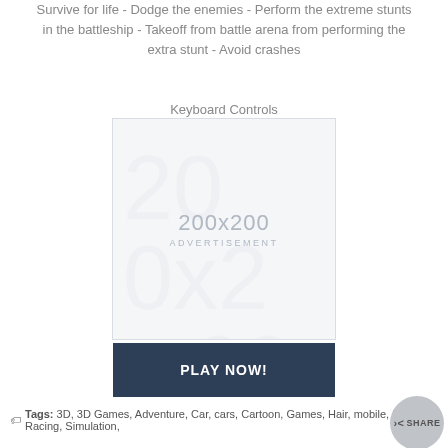Survive for life - Dodge the enemies - Perform the extreme stunts in the battleship - Takeoff from battle arena from performing the extra stunt - Avoid crashes
Keyboard Controls
[Figure (other): 200x200 advertisement placeholder box with watermark numbers]
PLAY NOW!
Tags: 3D, 3D Games, Adventure, Car, cars, Cartoon, Games, Hair, mobile, Parking, Racing, Simulation,